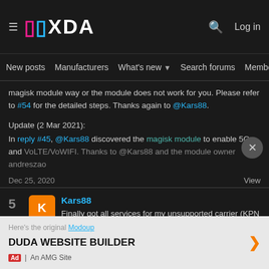≡ XDA  🔍  Log in
New posts  Manufacturers  What's new ▾  Search forums  Membe  >
magisk module way or the module does not work for you. Please refer to #54 for the detailed steps. Thanks again to @Kars88.
Update (2 Mar 2021):
In reply #45, @Kars88 discovered the magisk module to enable 5G and VoLTE/VoWIFI. Thanks to @Kars88 and the module owner andreszao
Dec 25, 2020
View
5  K  Kars88
Finally got all services for my unsupported carrier (KPN NL 204 08).
Here's the original Modoup
DUDA WEBSITE BUILDER  ❯
Ad | An AMG Site